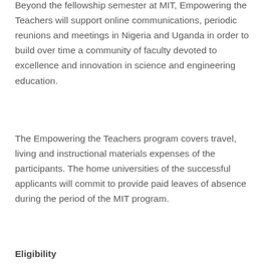Beyond the fellowship semester at MIT, Empowering the Teachers will support online communications, periodic reunions and meetings in Nigeria and Uganda in order to build over time a community of faculty devoted to excellence and innovation in science and engineering education.
The Empowering the Teachers program covers travel, living and instructional materials expenses of the participants. The home universities of the successful applicants will commit to provide paid leaves of absence during the period of the MIT program.
Eligibility